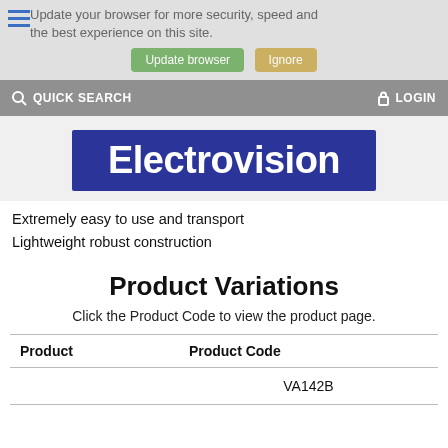Update your browser for more security, speed and the best experience on this site.
[Figure (screenshot): Browser update banner with 'Update browser' green button and 'Ignore' tan button]
[Figure (logo): Electrovision logo — white bold text on dark blue background]
Extremely easy to use and transport
Lightweight robust construction
Product Variations
Click the Product Code to view the product page.
| Product | Product Code |
| --- | --- |
|  | VA142B |